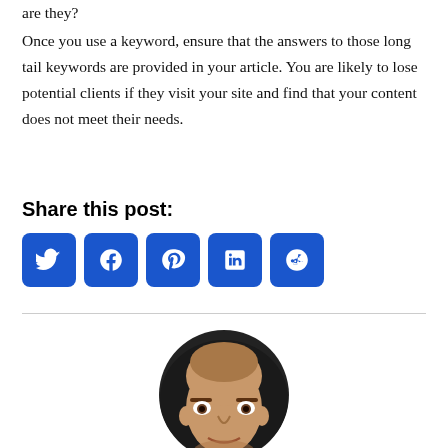are they?
Once you use a keyword, ensure that the answers to those long tail keywords are provided in your article. You are likely to lose potential clients if they visit your site and find that your content does not meet their needs.
Share this post:
[Figure (infographic): Social sharing buttons for Twitter, Facebook, Pinterest, LinkedIn, and Reddit — each a blue rounded square with white icon]
[Figure (photo): Circular portrait photo of a bald man, cropped at the forehead and chin]